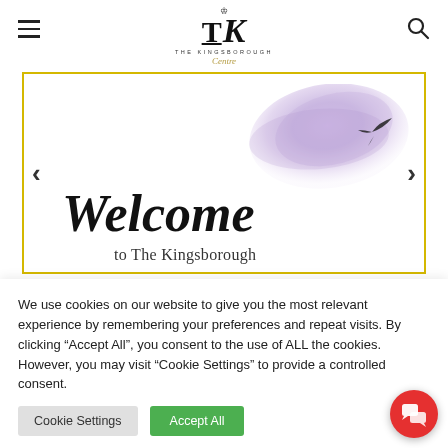The Kingsborough Centre — navigation header with hamburger menu, logo, and search icon
[Figure (screenshot): Website slider banner showing 'Welcome to The Kingsborough' text in large script font with purple brush stroke watercolor background and bird silhouette, with left and right navigation arrows, inside a yellow-bordered box]
We use cookies on our website to give you the most relevant experience by remembering your preferences and repeat visits. By clicking "Accept All", you consent to the use of ALL the cookies. However, you may visit "Cookie Settings" to provide a controlled consent.
Cookie Settings  Accept All